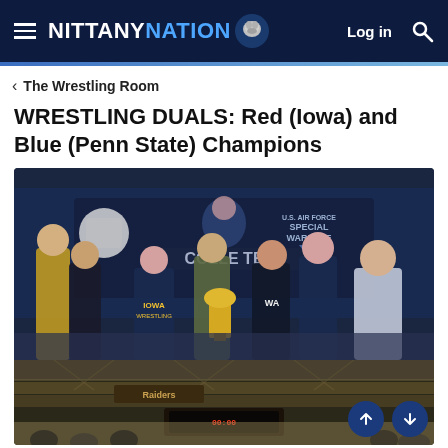NITTANY NATION
The Wrestling Room
WRESTLING DUALS: Red (Iowa) and Blue (Penn State) Champions
[Figure (photo): Group photo of wrestling team members posing in front of a U.S. Air Force Special Warfare banner at a Collegiate wrestling event. Several athletes in Iowa Wrestling gear hold a trophy. One person is in military camouflage uniform.]
[Figure (photo): Interior arena photo showing seating areas and overhead structure.]